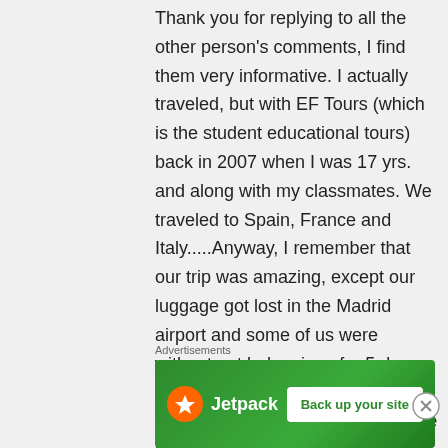Thank you for replying to all the other person's comments, I find them very informative. I actually traveled, but with EF Tours (which is the student educational tours) back in 2007 when I was 17 yrs. and along with my classmates. We traveled to Spain, France and Italy.....Anyway, I remember that our trip was amazing, except our luggage got lost in the Madrid airport and some of us were without out belongings for 5 days and some never received their luggage until a week after we came back to the U.S. We had to do
Advertisements
[Figure (other): Jetpack advertisement banner with green background, Jetpack logo with orange lightning bolt icon, and a 'Back up your site' white button]